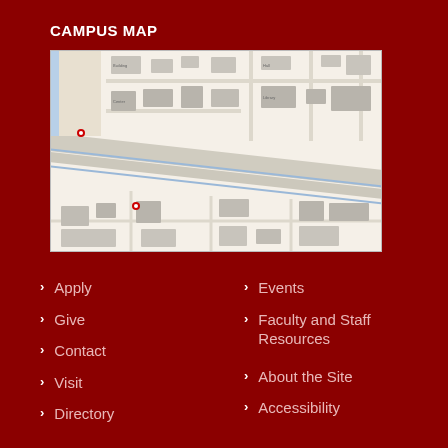CAMPUS MAP
[Figure (map): Campus map showing university buildings, roads, and pathways viewed from above. Buildings are shown in gray on a light background with blue road lines running diagonally across the map.]
Apply
Give
Contact
Visit
Directory (partial)
Events
Faculty and Staff Resources
About the Site
Accessibility